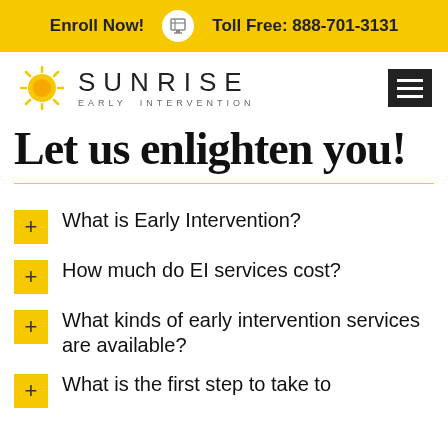Enroll Now!  Toll Free: 888-701-3131
[Figure (logo): Sunrise Early Intervention logo with sun graphic and hamburger menu icon]
Let us enlighten you!
What is Early Intervention?
How much do EI services cost?
What kinds of early intervention services are available?
What is the first step to take to